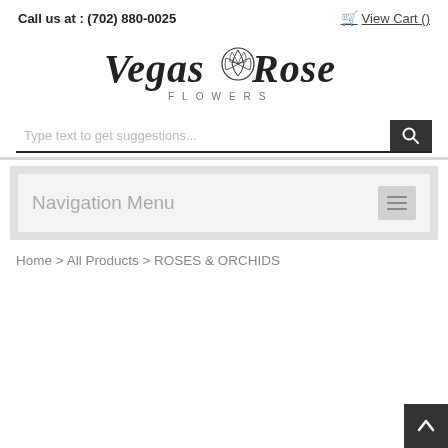Call us at : (702) 880-0025    View Cart ()
[Figure (logo): Vegas Rose Flowers logo with stylized rose illustration in black and white]
Type text to get suggestions...
Navigation Menu
Home > All Products > ROSES & ORCHIDS